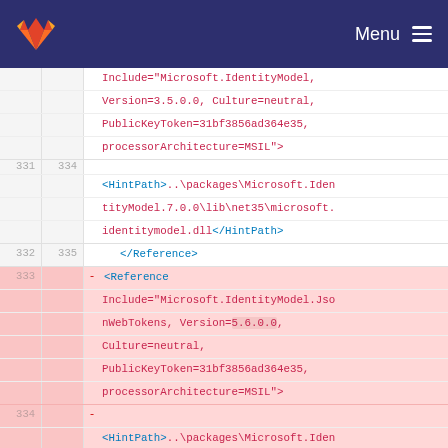GitLab navigation header with logo and Menu
Code diff showing XML reference entries. Lines 331-334 (old) / 334-335 (new). Includes Microsoft.IdentityModel and Microsoft.IdentityModel.JsonWebTokens references with HintPath entries. Lines 333-334 are deleted (red background) showing Version=5.6.0.0 and JsonWebTokens 5.6.0 being removed.